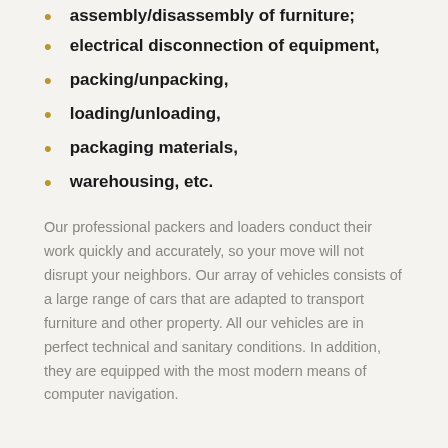assembly/disassembly of furniture;
electrical disconnection of equipment;
packing/unpacking;
loading/unloading;
packaging materials;
warehousing, etc.
Our professional packers and loaders conduct their work quickly and accurately, so your move will not disrupt your neighbors. Our array of vehicles consists of a large range of cars that are adapted to transport furniture and other property. All our vehicles are in perfect technical and sanitary conditions. In addition, they are equipped with the most modern means of computer navigation.